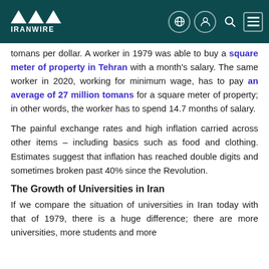IRANWIRE
tomans per dollar. A worker in 1979 was able to buy a square meter of property in Tehran with a month's salary. The same worker in 2020, working for minimum wage, has to pay an average of 27 million tomans for a square meter of property; in other words, the worker has to spend 14.7 months of salary.
The painful exchange rates and high inflation carried across other items – including basics such as food and clothing. Estimates suggest that inflation has reached double digits and sometimes broken past 40% since the Revolution.
The Growth of Universities in Iran
If we compare the situation of universities in Iran today with that of 1979, there is a huge difference; there are more universities, more students and more